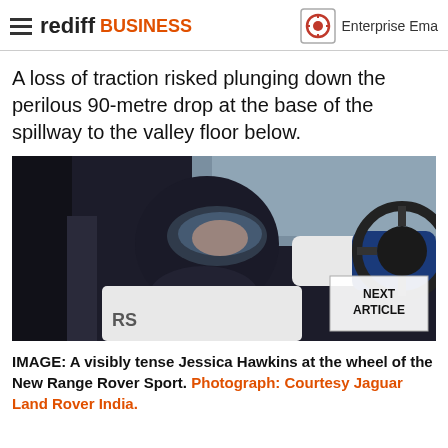rediff BUSINESS | Enterprise Ema
A loss of traction risked plunging down the perilous 90-metre drop at the base of the spillway to the valley floor below.
[Figure (photo): A race car driver wearing a full black helmet and white racing suit with blue gloves gripping a steering wheel inside a vehicle. A 'NEXT ARTICLE' overlay box appears in the bottom right corner of the image.]
IMAGE: A visibly tense Jessica Hawkins at the wheel of the New Range Rover Sport. Photograph: Courtesy Jaguar Land Rover India.